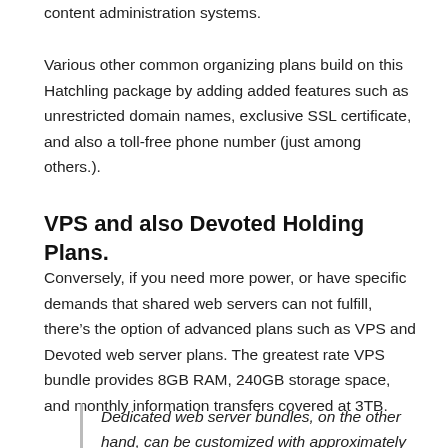content administration systems.
Various other common organizing plans build on this Hatchling package by adding added features such as unrestricted domain names, exclusive SSL certificate, and also a toll-free phone number (just among others.).
VPS and also Devoted Holding Plans.
Conversely, if you need more power, or have specific demands that shared web servers can not fulfill, there’s the option of advanced plans such as VPS and Devoted web server plans. The greatest rate VPS bundle provides 8GB RAM, 240GB storage space, and monthly information transfers covered at 3TB.
Dedicated web server bundles, on the other hand, can be customized with approximately 16GB of RAM, 25TB of month-to-month